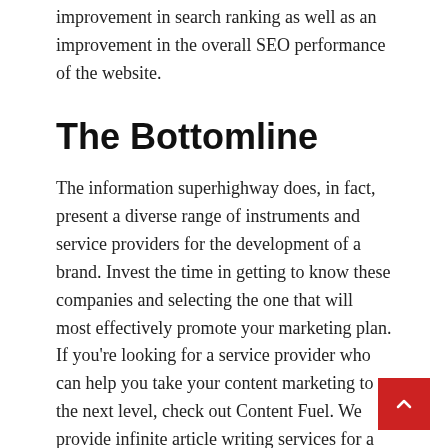improvement in search ranking as well as an improvement in the overall SEO performance of the website.
The Bottomline
The information superhighway does, in fact, present a diverse range of instruments and service providers for the development of a brand. Invest the time in getting to know these companies and selecting the one that will most effectively promote your marketing plan. If you're looking for a service provider who can help you take your content marketing to the next level, check out Content Fuel. We provide infinite article writing services for a fixed monthly fee. As a result, you can entrust us with any of your